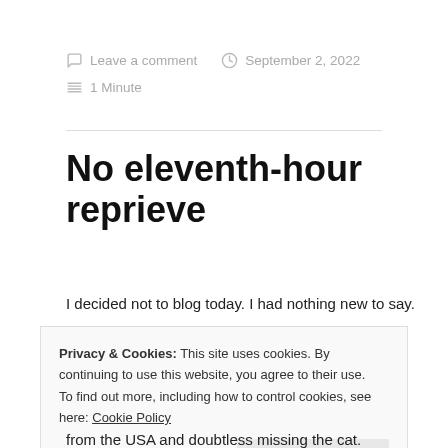Leave a comment   September 2, 2022   1 Minute
No eleventh-hour reprieve
I decided not to blog today. I had nothing new to say.
Privacy & Cookies: This site uses cookies. By continuing to use this website, you agree to their use.
To find out more, including how to control cookies, see here: Cookie Policy
Close and accept
from the USA and doubtless missing the cat.